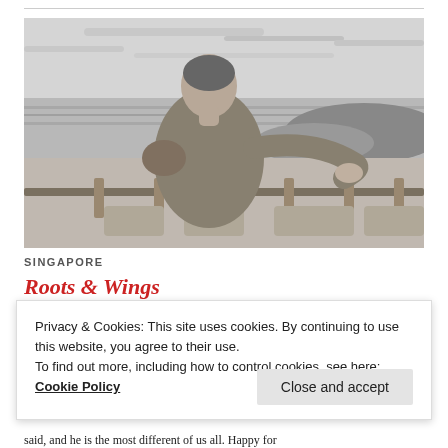[Figure (illustration): Black and white artistic/illustrated image of a person seen from behind, sitting and looking out over a landscape with water and hills, holding a railing. The image has a painterly, stylized look.]
SINGAPORE
Roots & Wings
Privacy & Cookies: This site uses cookies. By continuing to use this website, you agree to their use.
To find out more, including how to control cookies, see here: Cookie Policy
Close and accept
said, and he is the most different of us all. Happy for